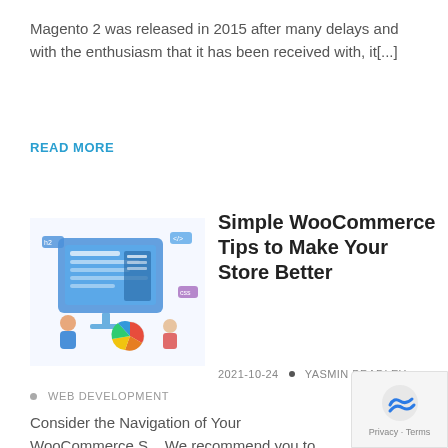Magento 2 was released in 2015 after many delays and with the enthusiasm that it has been received with, it[...]
READ MORE
[Figure (illustration): Illustration of people working on web development/e-commerce with a large monitor, UI elements, and colorful icons]
Simple WooCommerce Tips to Make Your Store Better
2021-10-24 • YASMIN BRADLEY
WEB DEVELOPMENT
Consider the Navigation of Your WooCommerce S... We recommend you to flatten the navigation of y... website. A flat website[...]